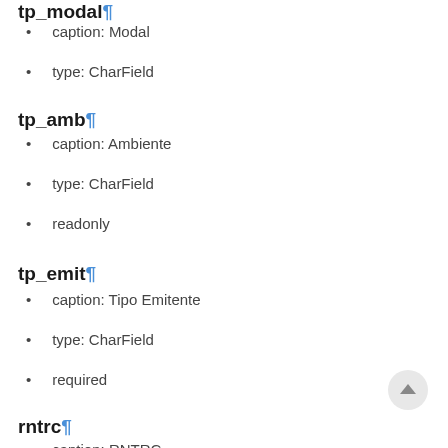tp_modal¶
caption: Modal
type: CharField
tp_amb¶
caption: Ambiente
type: CharField
readonly
tp_emit¶
caption: Tipo Emitente
type: CharField
required
rntrc¶
caption: RNTRC